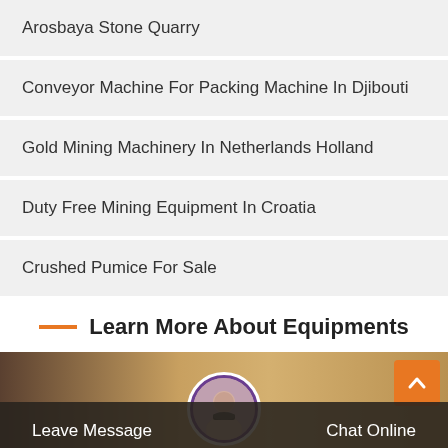Arosbaya Stone Quarry
Conveyor Machine For Packing Machine In Djibouti
Gold Mining Machinery In Netherlands Holland
Duty Free Mining Equipment In Croatia
Crushed Pumice For Sale
Learn More About Equipments
[Figure (photo): Bottom banner with customer service agent photo, Leave Message and Chat Online buttons, and scroll-to-top arrow button]